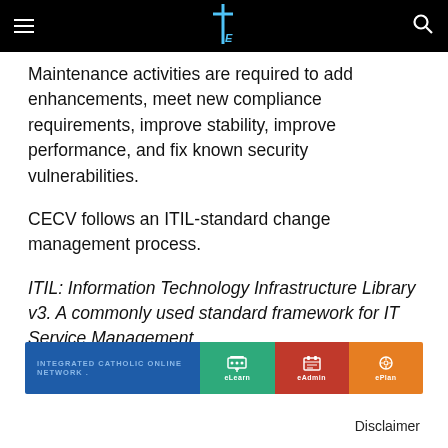Maintenance activities are required to add enhancements, meet new compliance requirements, improve stability, improve performance, and fix known security vulnerabilities.
CECV follows an ITIL-standard change management process.
ITIL: Information Technology Infrastructure Library v3. A commonly used standard framework for IT Service Management.
[Figure (other): Integrated Catholic Online Network footer banner with eLearn, eAdmin, and ePlan icons]
Disclaimer